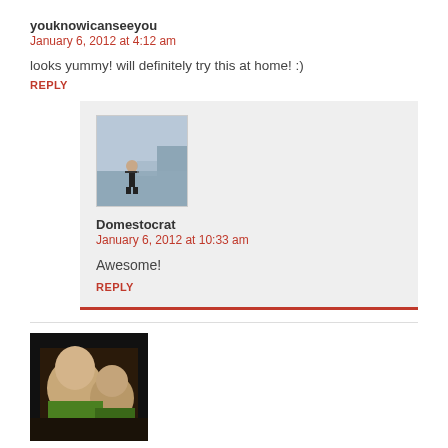youknowicanseeyou
January 6, 2012 at 4:12 am
looks yummy! will definitely try this at home! :)
REPLY
[Figure (photo): Avatar photo of person standing outdoors on a rocky hillside]
Domestocrat
January 6, 2012 at 10:33 am
Awesome!
REPLY
[Figure (photo): Avatar photo of two people, a woman and a child]
eumoronorio
January 7, 2012 at 2:05 pm